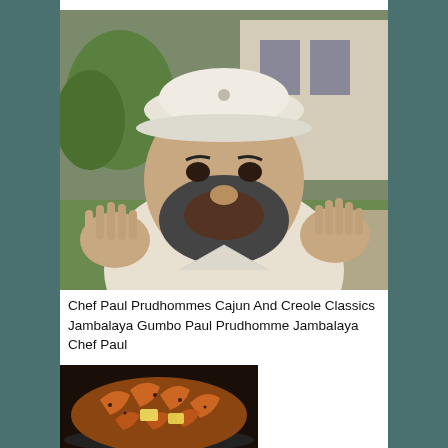[Figure (photo): A bearded man wearing a white flat cap, raising both hands with fingers spread, outdoors in front of a house with greenery in the background.]
Chef Paul Prudhommes Cajun And Creole Classics Jambalaya Gumbo Paul Prudhomme Jambalaya Chef Paul
[Figure (photo): A close-up of shrimp cooking in a dark skillet with butter and seasoning.]